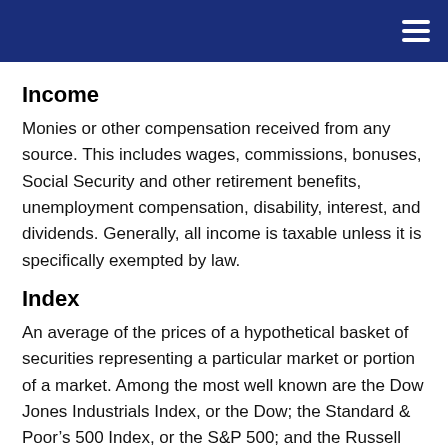Income
Monies or other compensation received from any source. This includes wages, commissions, bonuses, Social Security and other retirement benefits, unemployment compensation, disability, interest, and dividends. Generally, all income is taxable unless it is specifically exempted by law.
Index
An average of the prices of a hypothetical basket of securities representing a particular market or portion of a market. Among the most well known are the Dow Jones Industrials Index, or the Dow; the Standard & Poor’s 500 Index, or the S&P 500; and the Russell 2000 Index. Index performance is not indicative of the past performance of a particular investment. Past